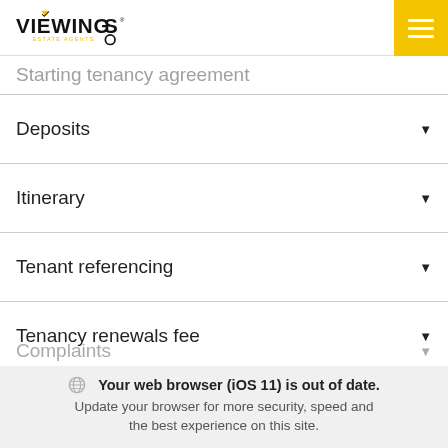VIEWINGS ESTATE AGENTS
Starting tenancy agreement
Deposits
Itinerary
Tenant referencing
Tenancy renewals fee
Complaints
Your web browser (iOS 11) is out of date. Update your browser for more security, speed and the best experience on this site.